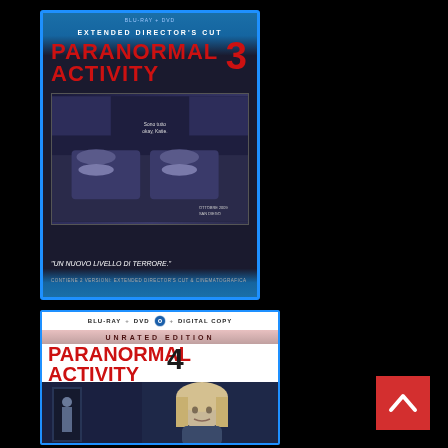[Figure (photo): Blu-ray + DVD cover of Paranormal Activity 3, Extended Director's Cut. Dark blue cover with red title text and a scene showing two people in a bedroom. Tagline: 'Un nuovo livello di terrore.']
[Figure (photo): Blu-ray + DVD + Digital Copy cover of Paranormal Activity 4, Unrated Edition. White top section with red title text and number 4, lower section shows dark scene with a blonde woman looking at camera.]
[Figure (other): Red square back-to-top button with white upward chevron arrow in bottom right corner.]